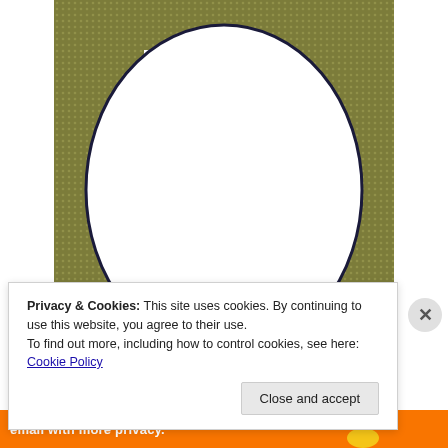[Figure (photo): A photo of a white oval/plate with a dark navy border, placed on a green textured background (woven fabric or mesh). A white rectangular card is partially visible beneath the oval.]
Privacy & Cookies: This site uses cookies. By continuing to use this website, you agree to their use.
To find out more, including how to control cookies, see here: Cookie Policy
Close and accept
email with more privacy.